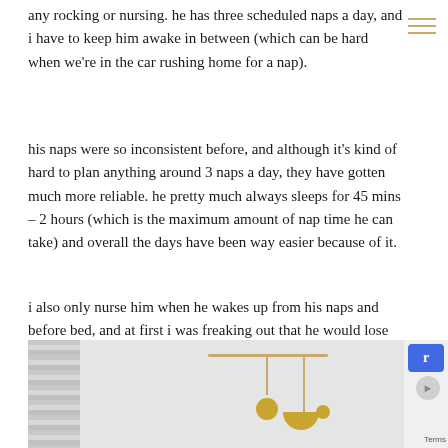any rocking or nursing. he has three scheduled naps a day, and i have to keep him awake in between (which can be hard when we're in the car rushing home for a nap).
his naps were so inconsistent before, and although it's kind of hard to plan anything around 3 naps a day, they have gotten much more reliable. he pretty much always sleeps for 45 mins – 2 hours (which is the maximum amount of nap time he can take) and overall the days have been way easier because of it.
i also only nurse him when he wakes up from his naps and before bed, and at first i was freaking out that he would lose all his rolls from not eating on demand but it's actually made things so much easier. like when we go out i know i won't have to nurse him in the car and i can even wear non nursing bras. it's pretty chill.
[Figure (photo): A baby mobile with gold/yellow geometric shapes (circle, bowl, small circle) hanging from a bar, positioned in a light grey room. Venetian blinds visible on the left side.]